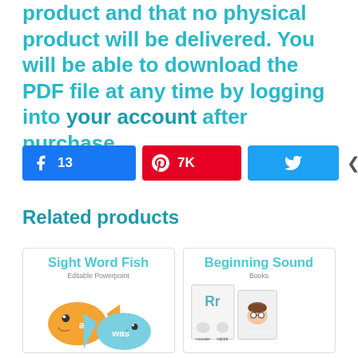product and that no physical product will be delivered. You will be able to download the PDF file at any time by logging into your account after purchase.
[Figure (screenshot): Social sharing buttons: Facebook (13 shares), Pinterest (7K shares), Twitter, and total 7K SHARES counter]
Related products
[Figure (illustration): Product card: Sight Word Fish Editable Powerpoint - shows colorful fish with sight words 'am' and 'was']
[Figure (illustration): Product card: Beginning Sound Books - shows workbook covers with letters Rr, rooster, rabbit, and a boy with glasses]